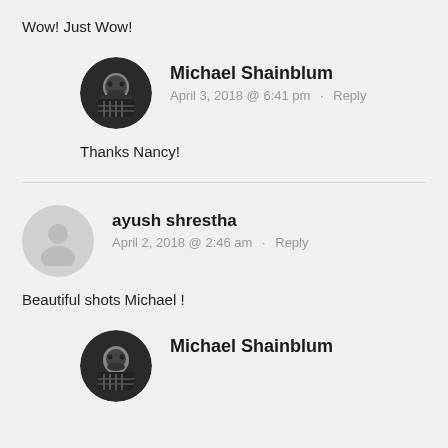Wow! Just Wow!
Michael Shainblum
April 3, 2018 @ 6:41 pm · Reply
Thanks Nancy!
ayush shrestha
April 2, 2018 @ 2:46 am · Reply
Beautiful shots Michael !
Michael Shainblum